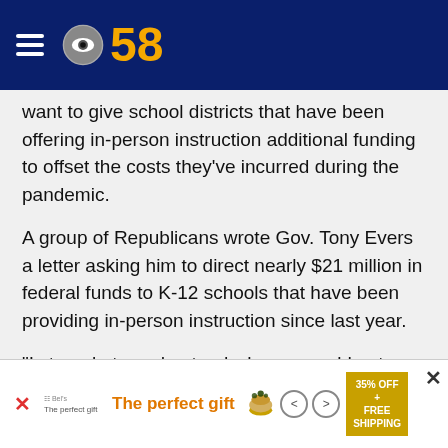CBS 58
want to give school districts that have been offering in-person instruction additional funding to offset the costs they've incurred during the pandemic.
A group of Republicans wrote Gov. Tony Evers a letter asking him to direct nearly $21 million in federal funds to K-12 schools that have been providing in-person instruction since last year.
“I struggle to understand why we would not reward those schools, teachers and those communities who have selfishly sacrificed putting themselves and their families at risk,” said Rep. Jeremy Thiesfeldt (R-Fond du Lac).
[Figure (screenshot): Advertisement banner: The perfect gift, food product image, navigation arrows, 35% OFF + FREE SHIPPING promo]